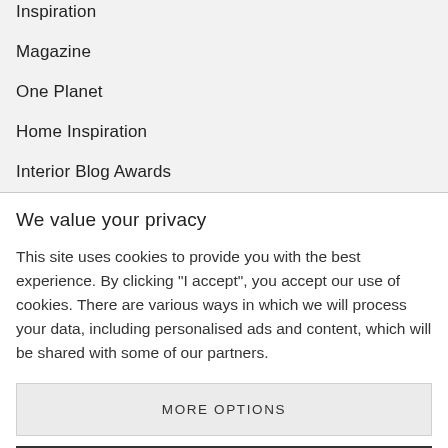Inspiration
Magazine
One Planet
Home Inspiration
Interior Blog Awards
We value your privacy
This site uses cookies to provide you with the best experience. By clicking "I accept", you accept our use of cookies. There are various ways in which we will process your data, including personalised ads and content, which will be shared with some of our partners.
MORE OPTIONS
I ACCEPT